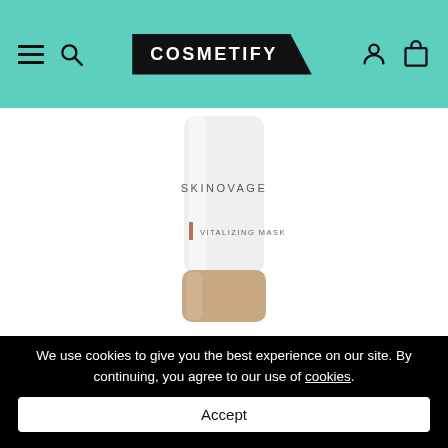COSMETIFY
[Figure (photo): A white cosmetic tube with gold cap labeled SKINOVAGE VITALIZING MASK on a white background]
We use cookies to give you the best experience on our site. By continuing, you agree to our use of cookies.
Accept